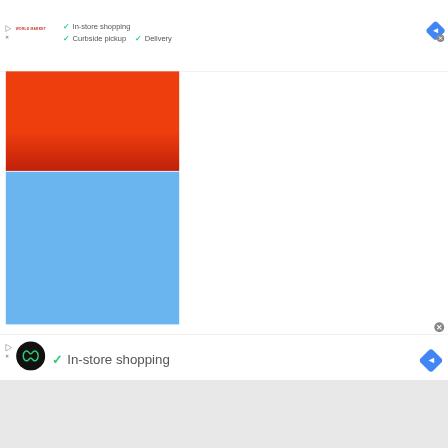[Figure (screenshot): Google Maps / web UI ad overlay showing World Market store listing with checkmarks for In-store shopping, Curbside pickup, and Delivery. Includes a blue diamond navigation icon and close button. Below is a large red advertisement block followed by a large blue advertisement block. At the bottom is another ad bar with a capsule logo showing In-store shopping and a blue diamond navigation icon.]